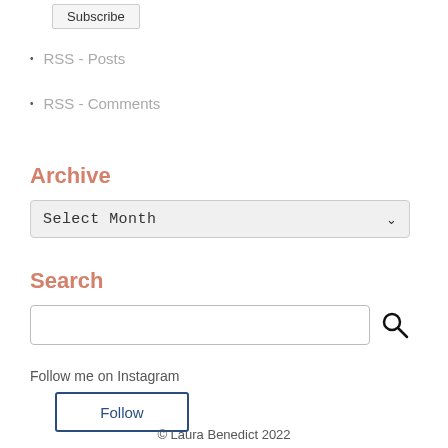[Figure (screenshot): Subscribe button at top of sidebar]
RSS - Posts
RSS - Comments
Archive
[Figure (screenshot): Select Month dropdown widget]
Search
[Figure (screenshot): Search input field with search icon button]
Follow me on Instagram
[Figure (screenshot): Follow button for Instagram]
© Laura Benedict 2022